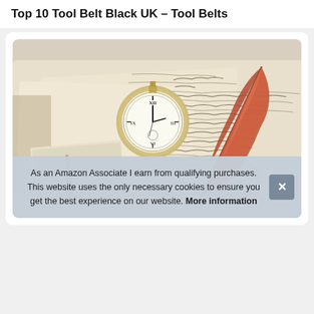Top 10 Tool Belt Black UK – Tool Belts
[Figure (photo): Vintage scene with old handwritten letters/postcards, a pocket watch, Eiffel Tower postcard, and a red quill feather pen on aged paper background]
As an Amazon Associate I earn from qualifying purchases. This website uses the only necessary cookies to ensure you get the best experience on our website. More information